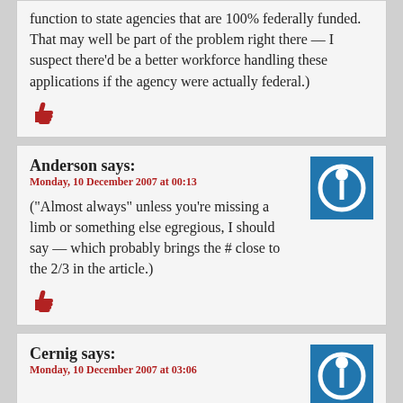function to state agencies that are 100% federally funded. That may well be part of the problem right there — I suspect there'd be a better workforce handling these applications if the agency were actually federal.)
[Figure (illustration): Red thumbs up icon]
Anderson says:
Monday, 10 December 2007 at 00:13
[Figure (illustration): Blue power button avatar icon]
("Almost always" unless you're missing a limb or something else egregious, I should say — which probably brings the # close to the 2/3 in the article.)
[Figure (illustration): Red thumbs up icon]
Cernig says:
Monday, 10 December 2007 at 03:06
[Figure (illustration): Blue power button avatar icon]